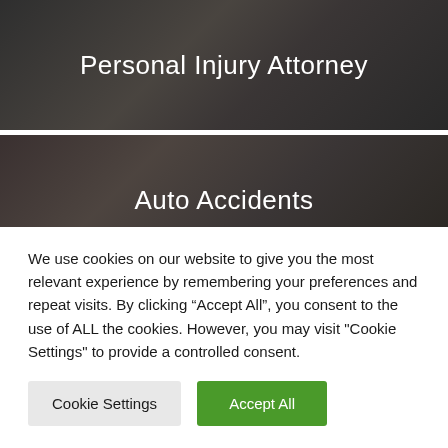[Figure (photo): Dark banner with text 'Personal Injury Attorney' on a dark background with blurred image]
[Figure (photo): Dark banner with text 'Auto Accidents' on a dark background with blurred image]
[Figure (photo): Dark green banner with text 'Animal Bites' on a dark background with blurred image]
[Figure (photo): Dark banner partially showing text 'Slip & Fall' on a dark background]
We use cookies on our website to give you the most relevant experience by remembering your preferences and repeat visits. By clicking “Accept All”, you consent to the use of ALL the cookies. However, you may visit "Cookie Settings" to provide a controlled consent.
Cookie Settings
Accept All